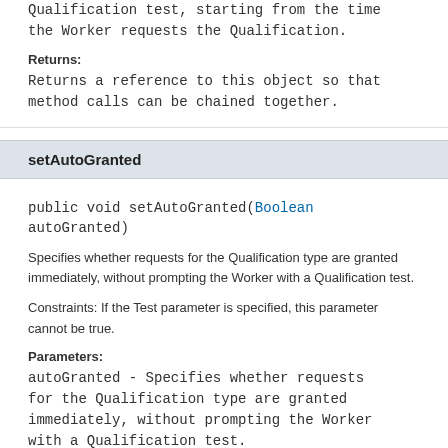Qualification test, starting from the time the Worker requests the Qualification.
Returns:
Returns a reference to this object so that method calls can be chained together.
setAutoGranted
public void setAutoGranted(Boolean autoGranted)
Specifies whether requests for the Qualification type are granted immediately, without prompting the Worker with a Qualification test.
Constraints: If the Test parameter is specified, this parameter cannot be true.
Parameters:
autoGranted - Specifies whether requests for the Qualification type are granted immediately, without prompting the Worker with a Qualification test.